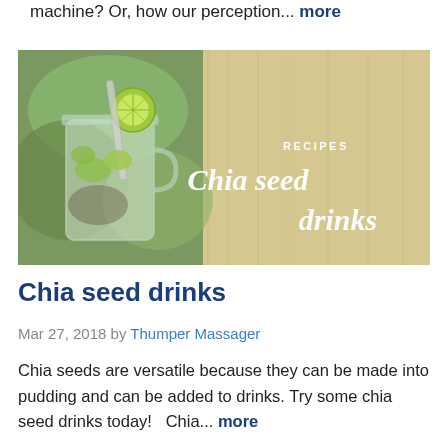machine? Or, how our perception... more
[Figure (photo): Photo of a mason jar filled with chia seed drink, lime slice, and straw, on a wooden background. Text overlay reads 'RECIPES' and 'Chia seed drinks' in white italic font.]
Chia seed drinks
Mar 27, 2018 by Thumper Massager
Chia seeds are versatile because they can be made into pudding and can be added to drinks. Try some chia seed drinks today!   Chia... more